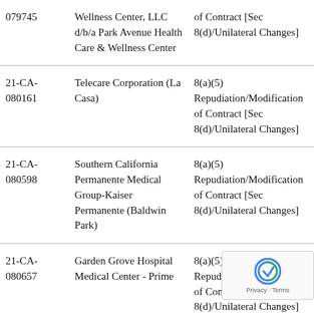| Case Number | Employer | Allegation |
| --- | --- | --- |
| 079745 | Wellness Center, LLC d/b/a Park Avenue Health Care & Wellness Center | of Contract [Sec 8(d)/Unilateral Changes] |
| 21-CA-080161 | Telecare Corporation (La Casa) | 8(a)(5) Repudiation/Modification of Contract [Sec 8(d)/Unilateral Changes] |
| 21-CA-080598 | Southern California Permanente Medical Group-Kaiser Permanente (Baldwin Park) | 8(a)(5) Repudiation/Modification of Contract [Sec 8(d)/Unilateral Changes] |
| 21-CA-080657 | Garden Grove Hospital Medical Center - Prime | 8(a)(5) Repudiation/Modification of Contract [Sec 8(d)/Unilateral Changes] |
| 21-CA- | Prime Healthcare Services - Garden Grove, LLC d/b/a | 8(a)(5) Repudiation/Modification |